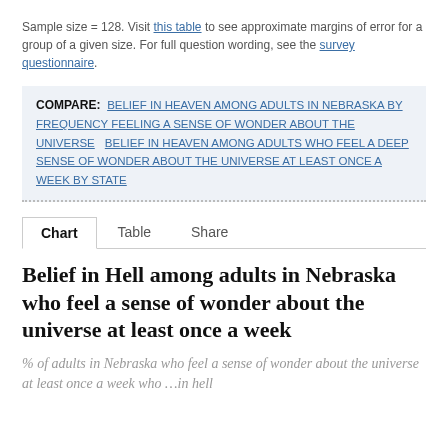Sample size = 128. Visit this table to see approximate margins of error for a group of a given size. For full question wording, see the survey questionnaire.
COMPARE: BELIEF IN HEAVEN AMONG ADULTS IN NEBRASKA BY FREQUENCY FEELING A SENSE OF WONDER ABOUT THE UNIVERSE   BELIEF IN HEAVEN AMONG ADULTS WHO FEEL A DEEP SENSE OF WONDER ABOUT THE UNIVERSE AT LEAST ONCE A WEEK BY STATE
Chart   Table   Share
Belief in Hell among adults in Nebraska who feel a sense of wonder about the universe at least once a week
% of adults in Nebraska who feel a sense of wonder about the universe at least once a week who ...in hell